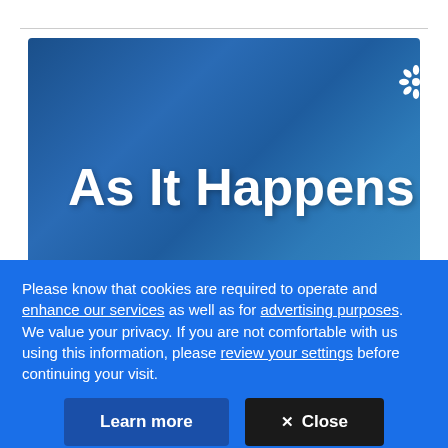[Figure (screenshot): CBC 'As It Happens' radio show promotional image with blue gradient background, white bold title text 'As It Happens', and CBC gem logo in top-right corner]
Please know that cookies are required to operate and enhance our services as well as for advertising purposes. We value your privacy. If you are not comfortable with us using this information, please review your settings before continuing your visit.